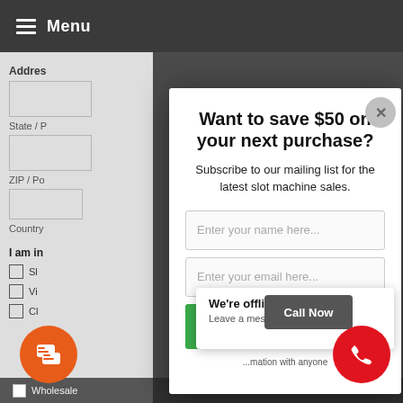Menu
Want to save $50 on your next purchase?
Subscribe to our mailing list for the latest slot machine sales.
Enter your name here...
Enter your email here...
SUBSCRIBE
...mation with anyone
We're offline
Leave a message with you...
Call Now
Wholesale